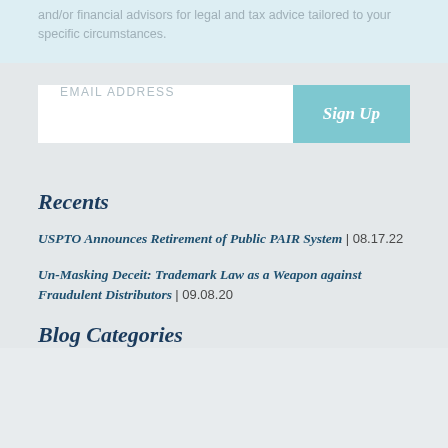and/or financial advisors for legal and tax advice tailored to your specific circumstances.
EMAIL ADDRESS
Sign Up
Recents
USPTO Announces Retirement of Public PAIR System | 08.17.22
Un-Masking Deceit: Trademark Law as a Weapon against Fraudulent Distributors | 09.08.20
Blog Categories